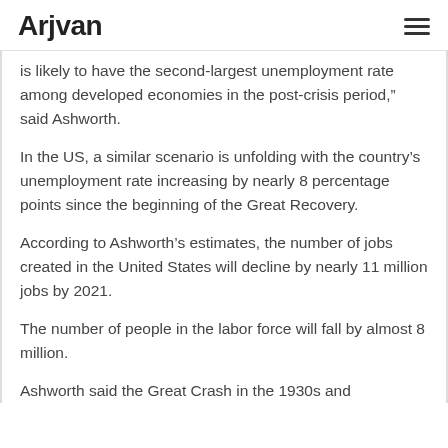Arjvan
is likely to have the second-largest unemployment rate among developed economies in the post-crisis period,” said Ashworth.
In the US, a similar scenario is unfolding with the country’s unemployment rate increasing by nearly 8 percentage points since the beginning of the Great Recovery.
According to Ashworth’s estimates, the number of jobs created in the United States will decline by nearly 11 million jobs by 2021.
The number of people in the labor force will fall by almost 8 million.
Ashworth said the Great Crash in the 1930s and